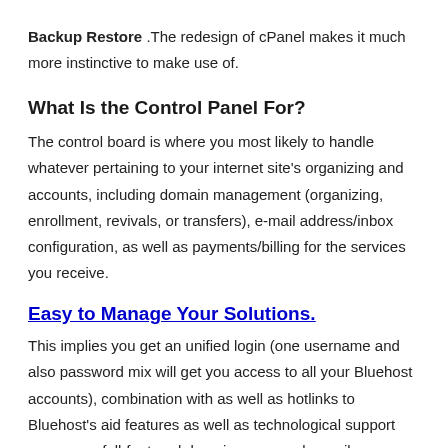Backup Restore .The redesign of cPanel makes it much more instinctive to make use of.
What Is the Control Panel For?
The control board is where you most likely to handle whatever pertaining to your internet site's organizing and accounts, including domain management (organizing, enrollment, revivals, or transfers), e-mail address/inbox configuration, as well as payments/billing for the services you receive.
Easy to Manage Your Solutions.
This implies you get an unified login (one username and also password mix will get you access to all your Bluehost accounts), combination with as well as hotlinks to Bluehost's aid features as well as technological support resources, full-featured domain name and e-mail administration features, and also simple upgrades as